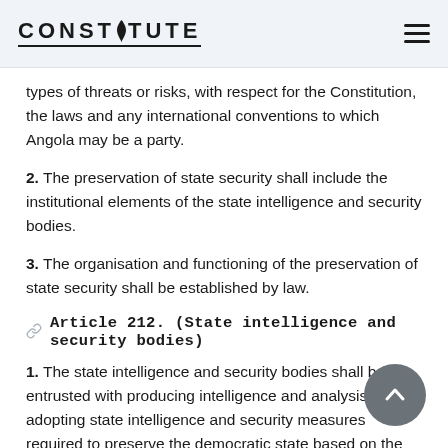CONSTITUTE
types of threats or risks, with respect for the Constitution, the laws and any international conventions to which Angola may be a party.
2. The preservation of state security shall include the institutional elements of the state intelligence and security bodies.
3. The organisation and functioning of the preservation of state security shall be established by law.
Article 212. (State intelligence and security bodies)
1. The state intelligence and security bodies shall be entrusted with producing intelligence and analysis and adopting state intelligence and security measures required to preserve the democratic state based on the